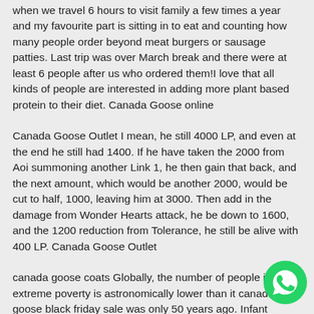when we travel 6 hours to visit family a few times a year and my favourite part is sitting in to eat and counting how many people order beyond meat burgers or sausage patties. Last trip was over March break and there were at least 6 people after us who ordered them!I love that all kinds of people are interested in adding more plant based protein to their diet. Canada Goose online
Canada Goose Outlet I mean, he still 4000 LP, and even at the end he still had 1400. If he have taken the 2000 from Aoi summoning another Link 1, he then gain that back, and the next amount, which would be another 2000, would be cut to half, 1000, leaving him at 3000. Then add in the damage from Wonder Hearts attack, he be down to 1600, and the 1200 reduction from Tolerance, he still be alive with 400 LP. Canada Goose Outlet
canada goose coats Globally, the number of people in extreme poverty is astronomically lower than it canada goose black friday sale was only 50 years ago. Infant mortality rate is also at an all time low. More kids are attending school than ever before. That said, as a GM, you can compare combat skills, damage, strength, and
[Figure (illustration): WhatsApp green circular button icon in bottom-right corner]